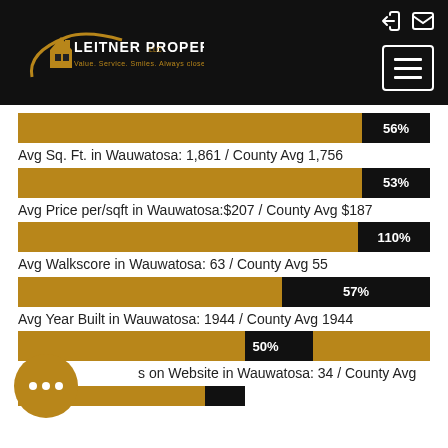[Figure (logo): Leitner Properties LLC logo with house icon and tagline: Value. Service. Smiles. Always close to home.]
[Figure (bar-chart): Avg Sq. Ft. in Wauwatosa: 1,861 / County Avg 1,756]
Avg Sq. Ft. in Wauwatosa: 1,861 / County Avg 1,756
[Figure (bar-chart): Avg Sq. Ft. in Wauwatosa]
Avg Price per/sqft in Wauwatosa:$207 / County Avg $187
[Figure (bar-chart): Avg Price per/sqft]
Avg Walkscore in Wauwatosa: 63 / County Avg 55
[Figure (bar-chart): Avg Walkscore]
Avg Year Built in Wauwatosa: 1944 / County Avg 1944
[Figure (bar-chart): Avg Year Built]
...s on Website in Wauwatosa: 34 / County Avg